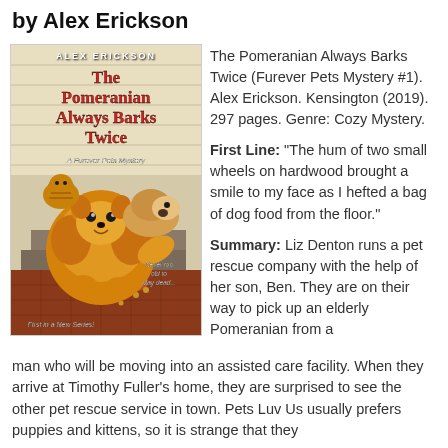by Alex Erickson
[Figure (illustration): Book cover of 'The Pomeranian Always Barks Twice' by Alex Erickson, A Furever Pets Mystery. Shows a Pomeranian dog in the foreground, a beagle on steps, and a cat. Tagline: 'Never too old to play dead...' and 'First in a New Series!']
The Pomeranian Always Barks Twice (Furever Pets Mystery #1). Alex Erickson. Kensington (2019). 297 pages. Genre: Cozy Mystery.

First Line: "The hum of two small wheels on hardwood brought a smile to my face as I hefted a bag of dog food from the floor."

Summary: Liz Denton runs a pet rescue company with the help of her son, Ben. They are on their way to pick up an elderly Pomeranian from a man who will be moving into an assisted care facility. When they arrive at Timothy Fuller's home, they are surprised to see the other pet rescue service in town. Pets Luv Us usually prefers puppies and kittens, so it is strange that they